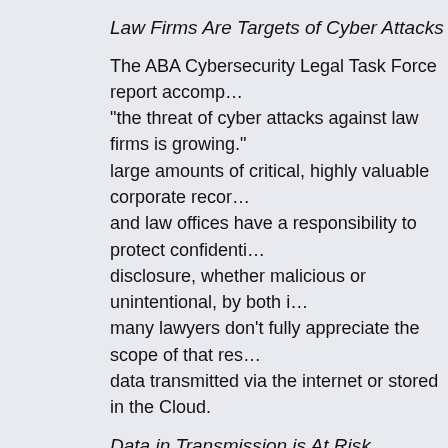Law Firms Are Targets of Cyber Attacks
The ABA Cybersecurity Legal Task Force report accom… “the threat of cyber attacks against law firms is growing.” large amounts of critical, highly valuable corporate recor… and law offices have a responsibility to protect confidenti… disclosure, whether malicious or unintentional, by both i… many lawyers don’t fully appreciate the scope of that res… data transmitted via the internet or stored in the Cloud.
Data in Transmission is At Risk
A survey conducted in March 2014 by LexisNexis found… business purposes, but only 22% of law firms are encryp… Technology News urges that It’s Time to Secure Privile… “attorneys should be concerned about the general uncer… Those risks to email confidentiality are not merely a theo…
For example, in February the New York Times reported t… email messages between a large U.S. law firm and its fo… the information with the U.S. National Security Agency. I… firm said: “There is no indication, either in the media rep… controls, that the alleged surveillance occurred at the fir… because unencrypted email is intercepted, undetectabl…